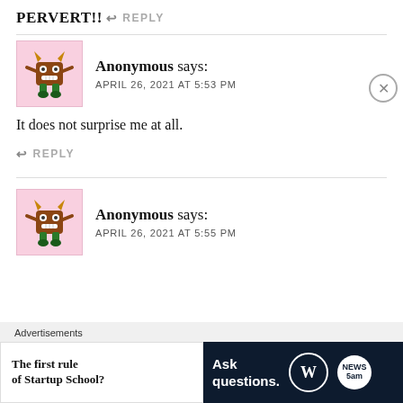PERVERT!!
↩ REPLY
Anonymous says:
APRIL 26, 2021 AT 5:53 PM
It does not surprise me at all.
↩ REPLY
Anonymous says:
APRIL 26, 2021 AT 5:55 PM
Advertisements
[Figure (infographic): WordPress Startup School advertisement banner with text 'The first rule of Startup School?' and 'Ask questions.' alongside WordPress and News logos on dark background]